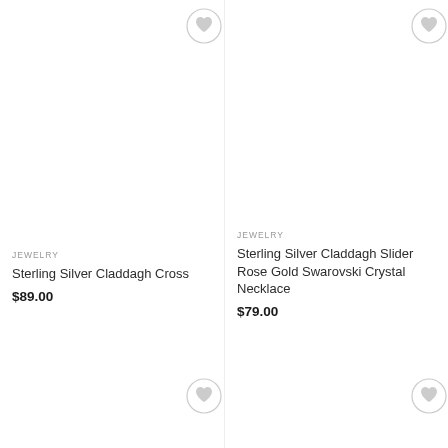[Figure (other): Wishlist heart icon button top-left product]
[Figure (other): Wishlist heart icon button top-right product]
JEWELRY
Sterling Silver Claddagh Cross
$89.00
JEWELRY
Sterling Silver Claddagh Slider Rose Gold Swarovski Crystal Necklace
$79.00
[Figure (other): Wishlist heart icon button bottom-left product]
[Figure (other): Wishlist heart icon button bottom-right product]